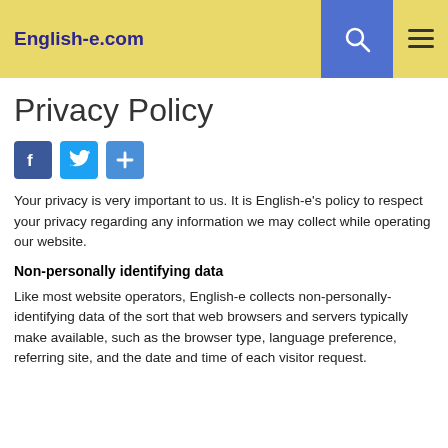English-e.com
Privacy Policy
[Figure (other): Social share buttons: Facebook, Twitter, Share]
Your privacy is very important to us. It is English-e's policy to respect your privacy regarding any information we may collect while operating our website.
Non-personally identifying data
Like most website operators, English-e collects non-personally-identifying data of the sort that web browsers and servers typically make available, such as the browser type, language preference, referring site, and the date and time of each visitor request.